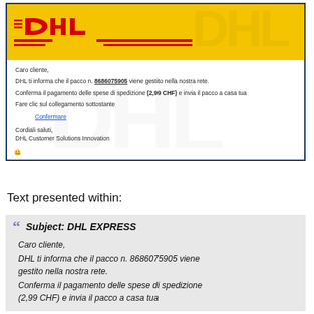[Figure (logo): DHL Express logo on yellow background with red DHL lettering and red stripe decorations]
Caro cliente,
DHL ti informa che il pacco n. 8686075905 viene gestito nella nostra rete.
Conferma il pagamento delle spese di spedizione (2,99 CHF) e invia il pacco a casa tua
Fare clic sul collegamento sottostante
Confermare
Cordiali saluti,
DHL Customer Solutions Innovation
Text presented within:
Subject: DHL EXPRESS

Caro cliente,

DHL ti informa che il pacco n. 8686075905 viene gestito nella nostra rete.
Conferma il pagamento delle spese di spedizione (2,99 CHF) e invia il pacco a casa tua